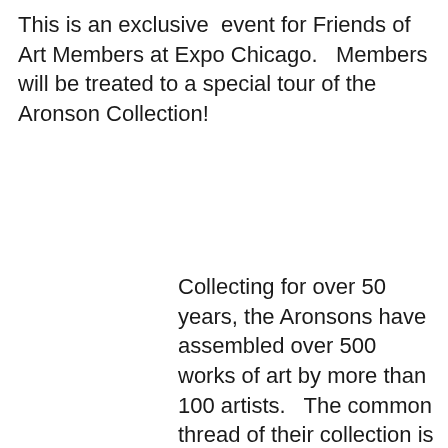This is an exclusive event for Friends of Art Members at Expo Chicago. Members will be treated to a special tour of the Aronson Collection!
Collecting for over 50 years, the Aronsons have assembled over 500 works of art by more than 100 artists. The common thread of their collection is the "imagistic" sensibility that pervaded the Chicago art community in the second half of the 20th century. Most of